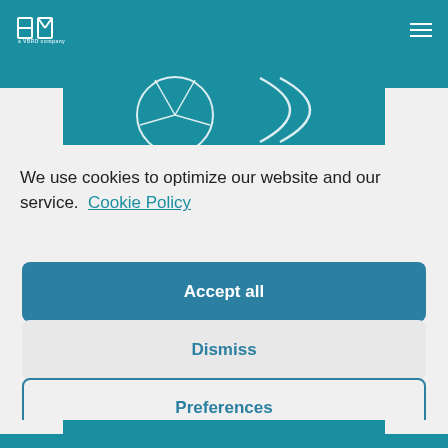PM – A VBRD Company
[Figure (logo): PM logo with 'a VBRD company' tagline on teal header bar]
[Figure (illustration): Teal decorative band with circular geometric outline graphics]
We use cookies to optimize our website and our service.  Cookie Policy
Accept all
Dismiss
Preferences
[Figure (illustration): Bottom teal decorative band with geometric outline shapes]